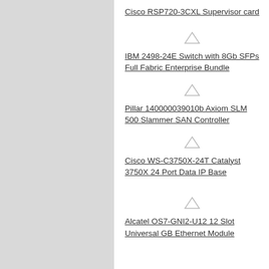Cisco RSP720-3CXL Supervisor card
IBM 2498-24E Switch with 8Gb SFPs Full Fabric Enterprise Bundle
Pillar 140000039010b Axiom SLM 500 Slammer SAN Controller
Cisco WS-C3750X-24T Catalyst 3750X 24 Port Data IP Base
Alcatel OS7-GNI2-U12 12 Slot Universal GB Ethernet Module